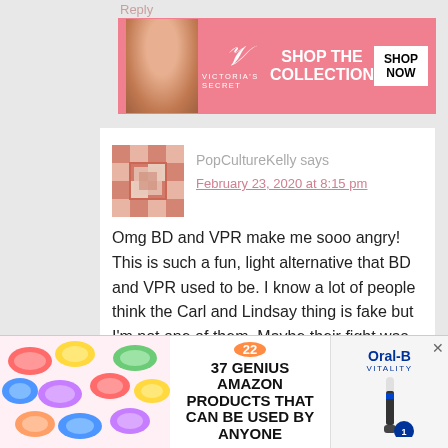Reply
[Figure (photo): Victoria's Secret advertisement banner with a model on the left, Victoria's Secret logo in the center, 'SHOP THE COLLECTION' text, and a white 'SHOP NOW' button on a pink background]
PopCultureKelly says
February 23, 2020 at 8:15 pm
Omg BD and VPR make me sooo angry! This is such a fun, light alternative that BD and VPR used to be. I know a lot of people think the Carl and Lindsay thing is fake but I'm not one of them. Maybe their fight was staged but I believe they are giving it a go in the relationship department. I like to believe that anyway lol
Reply
CLOSE
[Figure (photo): Bottom advertisement bar with colorful scrunchies on the left, '22' badge and '37 GENIUS AMAZON PRODUCTS THAT CAN BE USED BY ANYONE' text in the center, and an Oral-B Vitality electric toothbrush ad on the right with a close X button]